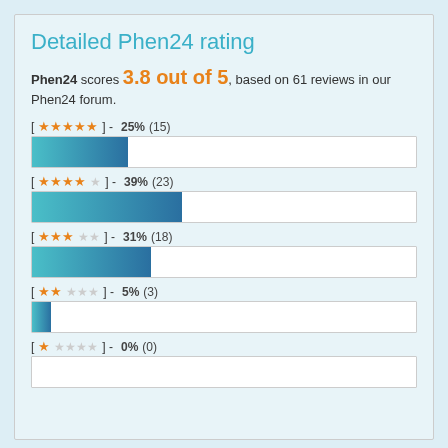Detailed Phen24 rating
Phen24 scores 3.8 out of 5, based on 61 reviews in our Phen24 forum.
[Figure (bar-chart): Phen24 ratings breakdown]